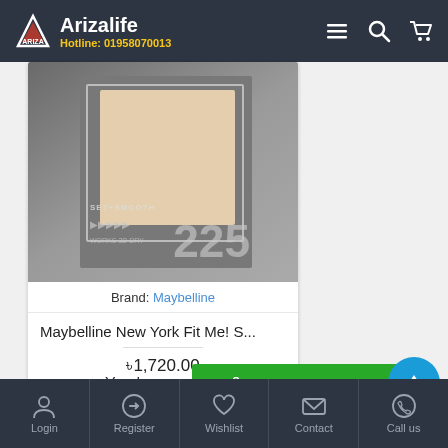Arizalife — Hotline: 01958070013
[Figure (screenshot): Product image of Maybelline compact powder Set+Smooth 225]
Brand: Maybelline
Maybelline New York Fit Me! S...
৳1,720.00
Buy Now
You have seen all of the list.
Filter Products
Login  Register  Wishlist  Contact  Call us